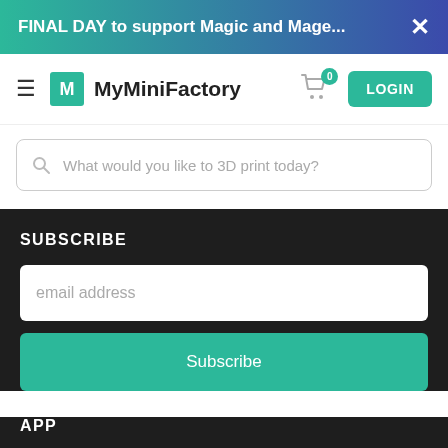FINAL DAY to support Magic and Mage... ×
[Figure (logo): MyMiniFactory logo with hamburger menu, cart icon with badge 0, and LOGIN button]
What would you like to 3D print today?
SUBSCRIBE
email address
Subscribe
APP
Google Android
Apple iOS